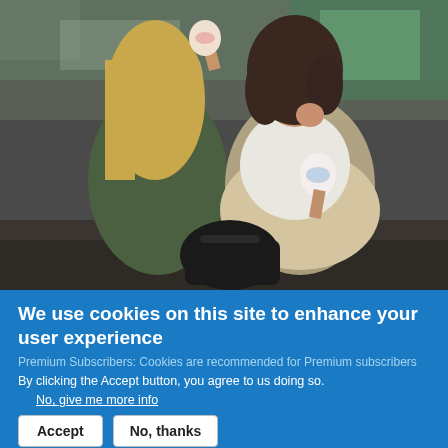[Figure (photo): Two young women sitting against a graffiti wall eating ice cream cones. The woman on the left has long blonde hair and wears a green jacket. The woman on the right has curly dark hair and wears a white top with leopard print skirt. A black bag sits between them.]
We use cookies on this site to enhance your user experience
Premium Subscribers: Cookies are recommended for Premium subscribers
By clicking the Accept button, you agree to us doing so.
No, give me more info
Accept
No, thanks